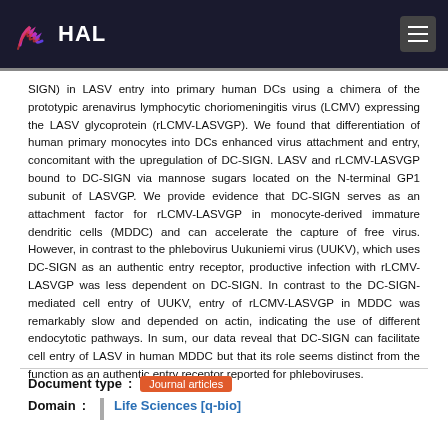HAL
SIGN) in LASV entry into primary human DCs using a chimera of the prototypic arenavirus lymphocytic choriomeningitis virus (LCMV) expressing the LASV glycoprotein (rLCMV-LASVGP). We found that differentiation of human primary monocytes into DCs enhanced virus attachment and entry, concomitant with the upregulation of DC-SIGN. LASV and rLCMV-LASVGP bound to DC-SIGN via mannose sugars located on the N-terminal GP1 subunit of LASVGP. We provide evidence that DC-SIGN serves as an attachment factor for rLCMV-LASVGP in monocyte-derived immature dendritic cells (MDDC) and can accelerate the capture of free virus. However, in contrast to the phlebovirus Uukuniemi virus (UUKV), which uses DC-SIGN as an authentic entry receptor, productive infection with rLCMV-LASVGP was less dependent on DC-SIGN. In contrast to the DC-SIGN-mediated cell entry of UUKV, entry of rLCMV-LASVGP in MDDC was remarkably slow and depended on actin, indicating the use of different endocytotic pathways. In sum, our data reveal that DC-SIGN can facilitate cell entry of LASV in human MDDC but that its role seems distinct from the function as an authentic entry receptor reported for phleboviruses.
Document type : Journal articles
Domain : Life Sciences [q-bio]